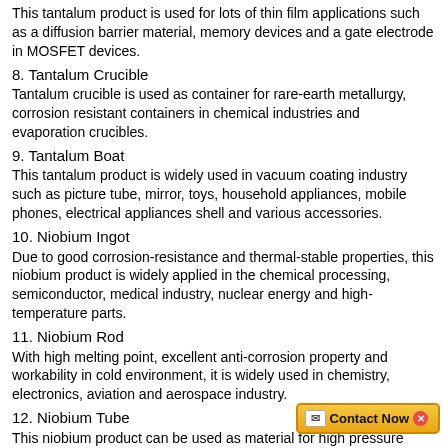This tantalum product is used for lots of thin film applications such as a diffusion barrier material, memory devices and a gate electrode in MOSFET devices.
8. Tantalum Crucible
Tantalum crucible is used as container for rare-earth metallurgy, corrosion resistant containers in chemical industries and evaporation crucibles.
9. Tantalum Boat
This tantalum product is widely used in vacuum coating industry such as picture tube, mirror, toys, household appliances, mobile phones, electrical appliances shell and various accessories.
10. Niobium Ingot
Due to good corrosion-resistance and thermal-stable properties, this niobium product is widely applied in the chemical processing, semiconductor, medical industry, nuclear energy and high-temperature parts.
11. Niobium Rod
With high melting point, excellent anti-corrosion property and workability in cold environment, it is widely used in chemistry, electronics, aviation and aerospace industry.
12. Niobium Tube
This niobium product can be used as material for high pressure sodium lamp, nozzles and structural parts for airplane engines and anti-corrosion parts under strong acid environment in chemical processing industry.
13. Niobium Sheet
It can also be used for capacitor parts, sputtering targets for optic industry, superconducting material, electrical light material, refrigeration, artificial diamond and alloy addition, etc.